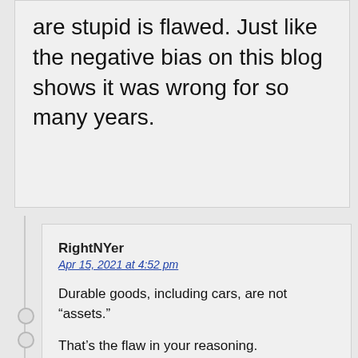are stupid is flawed. Just like the negative bias on this blog shows it was wrong for so many years.
RightNYer
Apr 15, 2021 at 4:52 pm

Durable goods, including cars, are not “assets.”

That’s the flaw in your reasoning.
qt
Apr 15, 2021 at 5:13 pm

Cars/trucks are depreciating assets